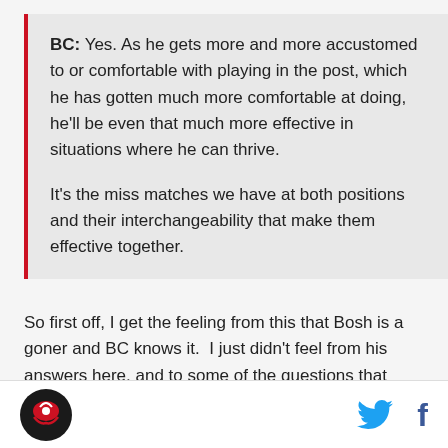BC: Yes. As he gets more and more accustomed to or comfortable with playing in the post, which he has gotten much more comfortable at doing, he'll be even that much more effective in situations where he can thrive.

It's the miss matches we have at both positions and their interchangeability that make them effective together.
So first off, I get the feeling from this that Bosh is a goner and BC knows it.  I just didn't feel from his answers here, and to some of the questions that followed, that Colangelo was ready to do whatever it